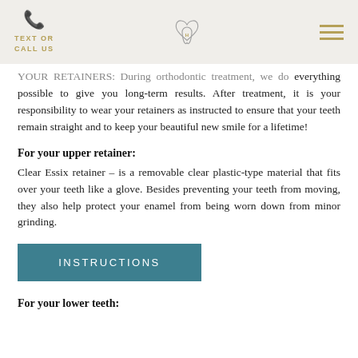TEXT OR CALL US | [logo] | [menu]
YOUR RETAINERS: During orthodontic treatment, we do everything possible to give you long-term results. After treatment, it is your responsibility to wear your retainers as instructed to ensure that your teeth remain straight and to keep your beautiful new smile for a lifetime!
For your upper retainer:
Clear Essix retainer – is a removable clear plastic-type material that fits over your teeth like a glove. Besides preventing your teeth from moving, they also help protect your enamel from being worn down from minor grinding.
INSTRUCTIONS
For your lower teeth: